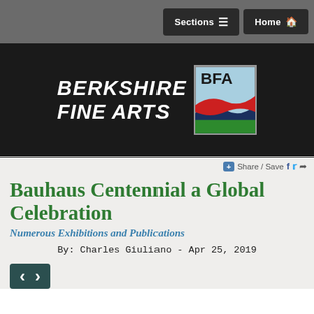Sections  Home
[Figure (logo): Berkshire Fine Arts logo with BFA square icon showing wave design in red, blue, and green on light blue background]
Bauhaus Centennial a Global Celebration
Numerous Exhibitions and Publications
By: Charles Giuliano - Apr 25, 2019